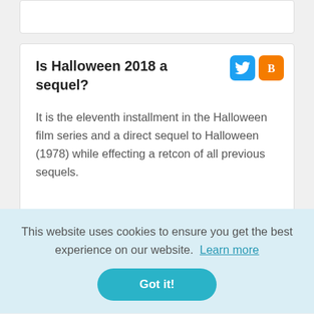Is Halloween 2018 a sequel?
It is the eleventh installment in the Halloween film series and a direct sequel to Halloween (1978) while effecting a retcon of all previous sequels.
This website uses cookies to ensure you get the best experience on our website.  Learn more
Got it!
It is widely believed that many Halloween